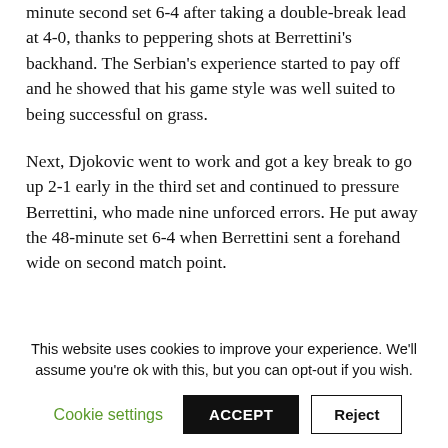minute second set 6-4 after taking a double-break lead at 4-0, thanks to peppering shots at Berrettini's backhand. The Serbian's experience started to pay off and he showed that his game style was well suited to being successful on grass.
Next, Djokovic went to work and got a key break to go up 2-1 early in the third set and continued to pressure Berrettini, who made nine unforced errors. He put away the 48-minute set 6-4 when Berrettini sent a forehand wide on second match point.
This website uses cookies to improve your experience. We'll assume you're ok with this, but you can opt-out if you wish.